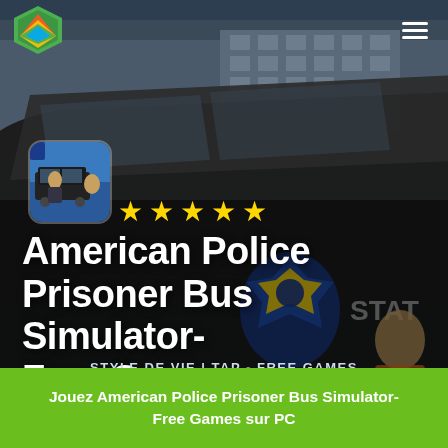[Figure (screenshot): Screenshot of a mobile app page featuring American Police Prisoner Bus Simulator-Free Games. Dark background with a police prisoner transport bus image. Green logo in top-left, hamburger menu top-right, game icon thumbnail, five yellow stars, large white title text, category subtitle, and green CTA button at bottom.]
American Police Prisoner Bus Simulator- Free Games
STYLE DE VIE | TAP - FREE GAMES
Jouez American Police Prisoner Bus Simulator- Free Games sur PC